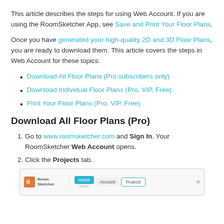This article describes the steps for using Web Account. If you are using the RoomSketcher App, see Save and Print Your Floor Plans.
Once you have generated your high-quality 2D and 3D Floor Plans, you are ready to download them. This article covers the steps in Web Account for these topics:
Download All Floor Plans (Pro subscribers only)
Download Individual Floor Plans (Pro, VIP, Free)
Print Your Floor Plans (Pro, VIP, Free)
Download All Floor Plans (Pro)
1. Go to www.roomsketcher.com and Sign In. Your RoomSketcher Web Account opens.
2. Click the Projects tab.
[Figure (screenshot): Screenshot of RoomSketcher website navigation bar showing Home, Account, and Projects tabs with Projects tab circled]